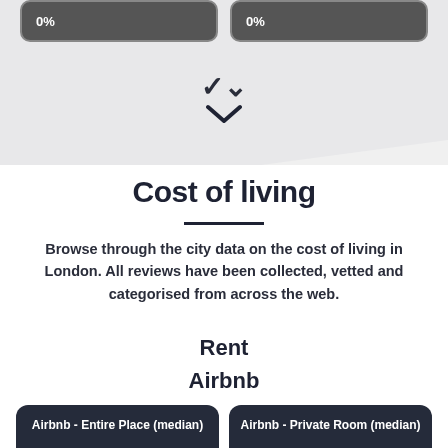[Figure (infographic): Two dark progress/status bars showing 0% at the top of the page, with a decorative grey diagonal background area and a chevron down arrow]
Cost of living
Browse through the city data on the cost of living in London. All reviews have been collected, vetted and categorised from across the web.
Rent
Airbnb
| Airbnb - Entire Place (median) | Airbnb - Private Room (median) |
| --- | --- |